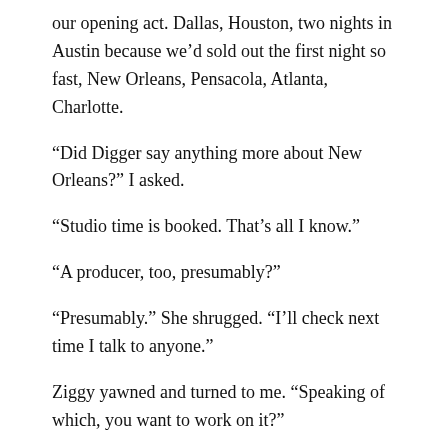our opening act. Dallas, Houston, two nights in Austin because we'd sold out the first night so fast, New Orleans, Pensacola, Atlanta, Charlotte.
“Did Digger say anything more about New Orleans?” I asked.
“Studio time is booked. That’s all I know.”
“A producer, too, presumably?”
“Presumably.” She shrugged. “I’ll check next time I talk to anyone.”
Ziggy yawned and turned to me. “Speaking of which, you want to work on it?”
“Sure.”